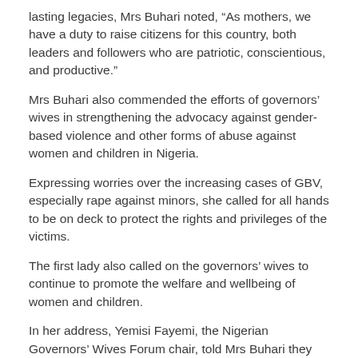lasting legacies, Mrs Buhari noted, “As mothers, we have a duty to raise citizens for this country, both leaders and followers who are patriotic, conscientious, and productive.”
Mrs Buhari also commended the efforts of governors’ wives in strengthening the advocacy against gender-based violence and other forms of abuse against women and children in Nigeria.
Expressing worries over the increasing cases of GBV, especially rape against minors, she called for all hands to be on deck to protect the rights and privileges of the victims.
The first lady also called on the governors’ wives to continue to promote the welfare and wellbeing of women and children.
In her address, Yemisi Fayemi, the Nigerian Governors’ Wives Forum chair, told Mrs Buhari they visited to update her on their activities regarding their advocacy against GBV in their various states.
Mrs Fayemi added that GBV was a major concern during the COVID-19 lockdown, emphasising that rape cases increased during the period.